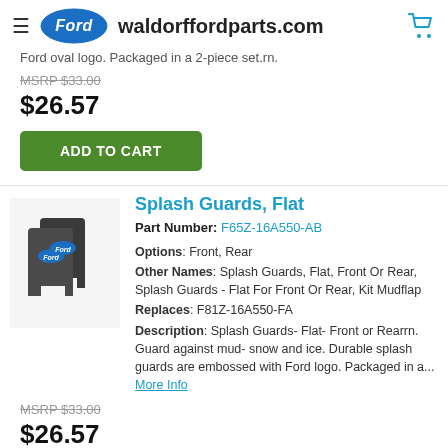waldorffordparts.com
Ford oval logo. Packaged in a 2-piece set.rn.
MSRP $33.00
$26.57
ADD TO CART
Splash Guards, Flat
Part Number: F65Z-16A550-AB
Options: Front, Rear
Other Names: Splash Guards, Flat, Front Or Rear, Splash Guards - Flat For Front Or Rear, Kit Mudflap
Replaces: F81Z-16A550-FA
Description: Splash Guards- Flat- Front or Rearrn. Guard against mud- snow and ice. Durable splash guards are embossed with Ford logo. Packaged in a... More Info
MSRP $33.00
$26.57